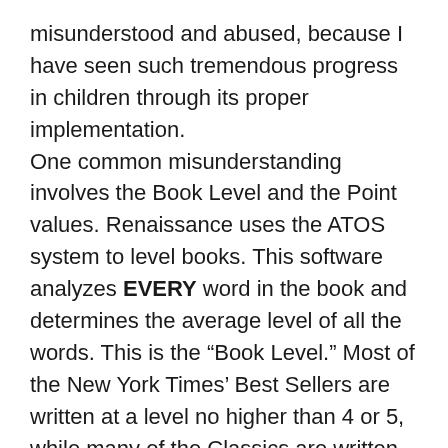misunderstood and abused, because I have seen such tremendous progress in children through its proper implementation. One common misunderstanding involves the Book Level and the Point values. Renaissance uses the ATOS system to level books. This software analyzes EVERY word in the book and determines the average level of all the words. This is the “Book Level.” Most of the New York Times’ Best Sellers are written at a level no higher than 4 or 5, while many of the Classics are written at a much higher level. This is why Renaissance also assigns an “Interest Level” to each book. The points, on the other hand, refer to the length of the book; the number of words versus pictures. Thus, nearly all picture books are assigned a value of 0.5 points, while the Harry Potter you mentioned has 896 pages for 44 points, as opposed to